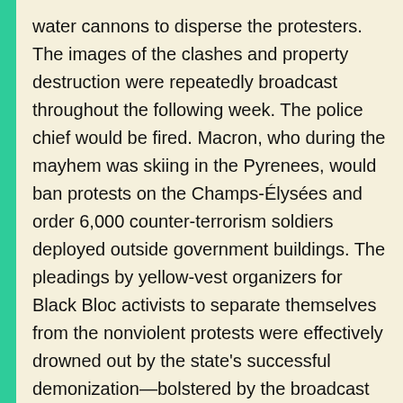water cannons to disperse the protesters. The images of the clashes and property destruction were repeatedly broadcast throughout the following week. The police chief would be fired. Macron, who during the mayhem was skiing in the Pyrenees, would ban protests on the Champs-Élysées and order 6,000 counter-terrorism soldiers deployed outside government buildings. The pleadings by yellow-vest organizers for Black Bloc activists to separate themselves from the nonviolent protests were effectively drowned out by the state's successful demonization—bolstered by the broadcast media—of the protest movement as a threat to public order and security.
As clashes took place on the Champs-Élysées, some 20,000 demonstrators thronged the streets outside the old Paris Opera House to protest the government's